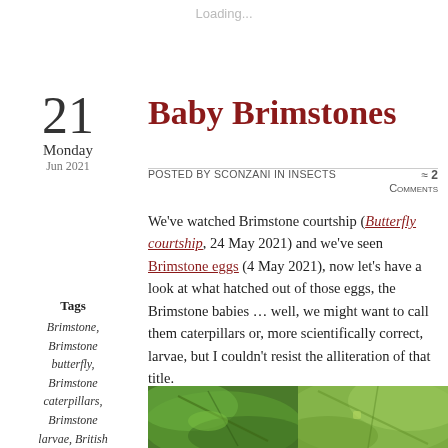Loading...
Baby Brimstones
21
Monday
Jun 2021
Posted by sconzani in insects   ≈ 2 Comments
We've watched Brimstone courtship (Butterfly courtship, 24 May 2021) and we've seen Brimstone eggs (4 May 2021), now let's have a look at what hatched out of those eggs, the Brimstone babies … well, we might want to call them caterpillars or, more scientifically correct, larvae, but I couldn't resist the alliteration of that title.
Tags
Brimstone,
Brimstone butterfly,
Brimstone caterpillars,
Brimstone larvae, British butterflies
[Figure (photo): Two close-up photos of green leaves, likely showing Brimstone caterpillar eggs or larvae on leaves.]